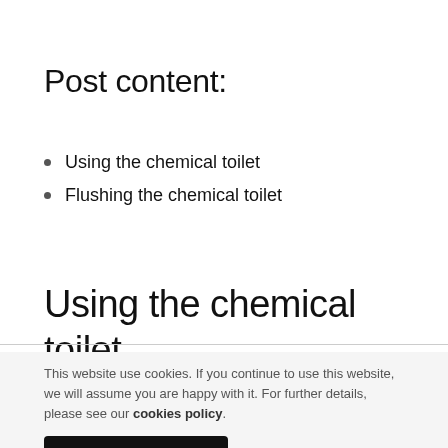Post content:
Using the chemical toilet
Flushing the chemical toilet
Using the chemical toilet
This website use cookies. If you continue to use this website, we will assume you are happy with it. For further details, please see our cookies policy.